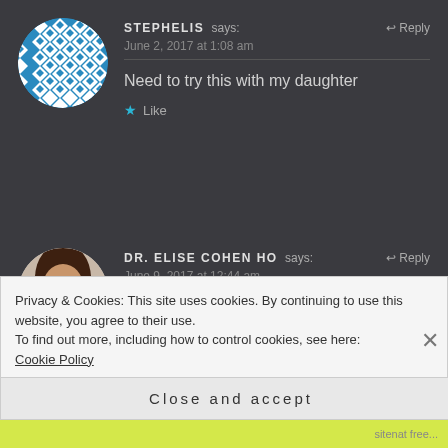[Figure (illustration): Blue and white geometric diamond pattern avatar in a circle for user Stephelis]
STEPHELIS says:
Reply
June 2, 2017 at 1:08 am
Need to try this with my daughter
Like
[Figure (photo): Profile photo of Dr. Elise Cohen Ho, a woman with glasses and dark wavy hair]
DR. ELISE COHEN HO says:
Reply
June 9, 2017 at 12:44 am
This whole project just fascinates me. It is so
Privacy & Cookies: This site uses cookies. By continuing to use this website, you agree to their use.
To find out more, including how to control cookies, see here: Cookie Policy
Close and accept